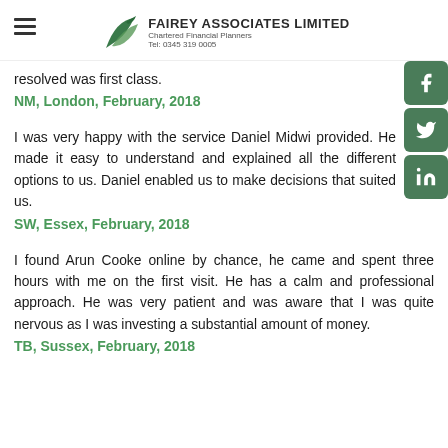FAIREY ASSOCIATES LIMITED Chartered Financial Planners Tel: 0345 319 0005
resolved was first class.
NM, London, February, 2018
I was very happy with the service Daniel Midwi provided. He made it easy to understand and explained all the different options to us. Daniel enabled us to make decisions that suited us.
SW, Essex, February, 2018
I found Arun Cooke online by chance, he came and spent three hours with me on the first visit. He has a calm and professional approach. He was very patient and was aware that I was quite nervous as I was investing a substantial amount of money.
TB, Sussex, February, 2018